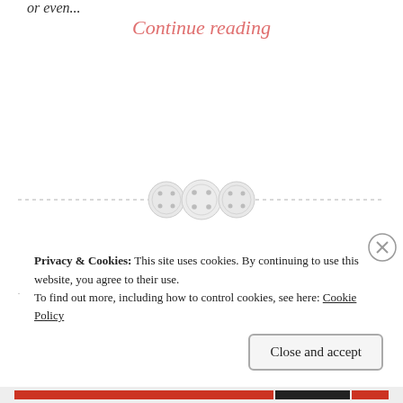or even...
Continue reading
[Figure (illustration): Three button icons arranged horizontally as a section divider, with dashed horizontal lines extending left and right]
Privacy & Cookies: This site uses cookies. By continuing to use this website, you agree to their use.
To find out more, including how to control cookies, see here: Cookie Policy
Close and accept